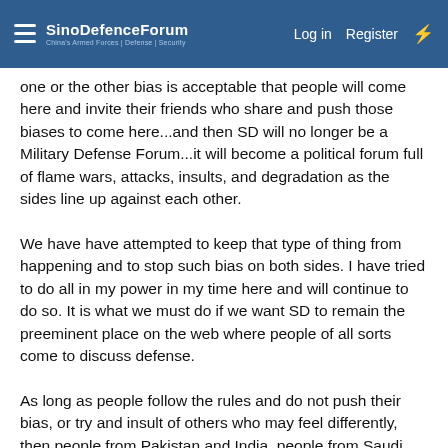SinoDefenceForum — Log in | Register
one or the other bias is acceptable that people will come here and invite their friends who share and push those biases to come here...and then SD will no longer be a Military Defense Forum...it will become a political forum full of flame wars, attacks, insults, and degradation as the sides line up against each other.
We have have attempted to keep that type of thing from happening and to stop such bias on both sides. I have tried to do all in my power in my time here and will continue to do so. It is what we must do if we want SD to remain the preeminent place on the web where people of all sorts come to discuss defense.
As long as people follow the rules and do not push their bias, or try and insult of others who may feel differently, then people from Pakistan and India, people from Saudi Arabia and Israel, people from China and the the US, or China and